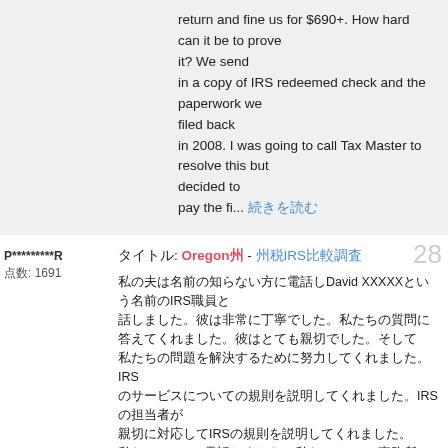return and fine us for $690+. How hard can it be to prove it? We send in a copy of IRS redeemed check and the paperwork we filed back in 2008. I was going to call Tax Master to resolve this but decided to pay the fi... [read more]
P*********R
点数: 1691
タイトル: Oregon州 - 州税IRS比較調査
私の夫はDavid XXXXXという名前のIRS職員と話しました。彼は非常に丁寧でした。私たちの質問に答えてくれました。彼はIRS規則について説明してくれました。私たちはDCの事務所に電話しました。IRSのサービスは非常に良かったです。スタッフが丁寧でした。私はIRS、そしてIRSとIRSに電話しました。IRSのスタッフに感謝します。私たちはIRSに電話しました。